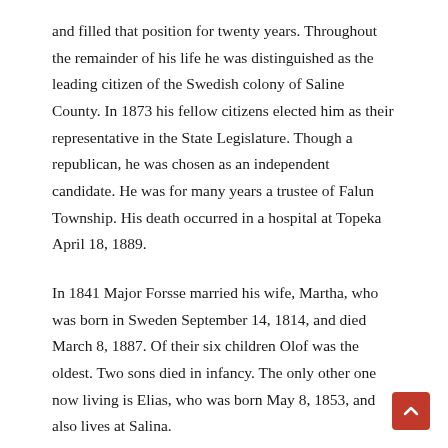and filled that position for twenty years. Throughout the remainder of his life he was distinguished as the leading citizen of the Swedish colony of Saline County. In 1873 his fellow citizens elected him as their representative in the State Legislature. Though a republican, he was chosen as an independent candidate. He was for many years a trustee of Falun Township. His death occurred in a hospital at Topeka April 18, 1889.
In 1841 Major Forsse married his wife, Martha, who was born in Sweden September 14, 1814, and died March 8, 1887. Of their six children Olof was the oldest. Two sons died in infancy. The only other one now living is Elias, who was born May 8, 1853, and also lives at Salina.